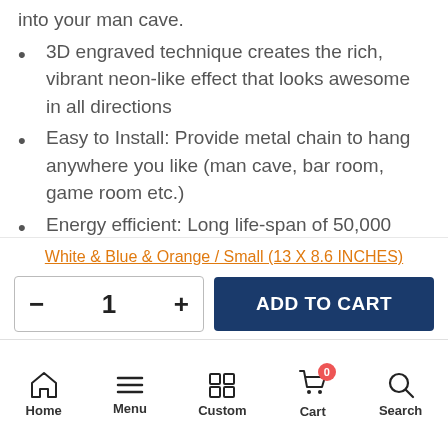3D engraved technique creates the rich, vibrant neon-like effect that looks awesome in all directions
Easy to Install: Provide metal chain to hang anywhere you like (man cave, bar room, game room etc.)
Energy efficient: Long life-span of 50,000 hours.
50-70% cheaper than Gas-fill tube neon
White & Blue & Orange / Small (13 X 8.6 INCHES)
ADD TO CART
Home  Menu  Custom  Cart  Search